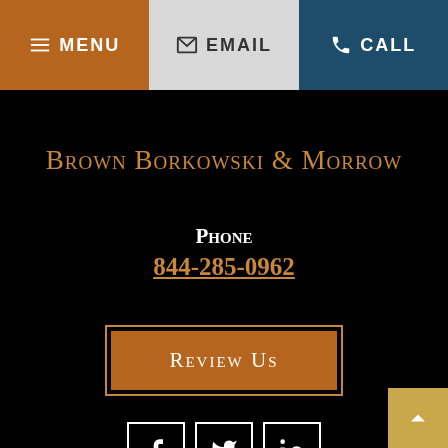MENU | EMAIL | CALL
Brown Borkowski & Morrow
Phone
844-285-0962
Review Us
[Figure (other): Social media icons: Facebook, Twitter, LinkedIn]